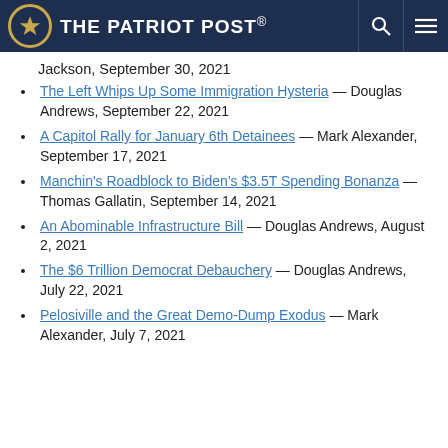The Patriot Post
Jackson, September 30, 2021
The Left Whips Up Some Immigration Hysteria — Douglas Andrews, September 22, 2021
A Capitol Rally for January 6th Detainees — Mark Alexander, September 17, 2021
Manchin's Roadblock to Biden's $3.5T Spending Bonanza — Thomas Gallatin, September 14, 2021
An Abominable Infrastructure Bill — Douglas Andrews, August 2, 2021
The $6 Trillion Democrat Debauchery — Douglas Andrews, July 22, 2021
Pelosiville and the Great Demo-Dump Exodus — Mark Alexander, July 7, 2021